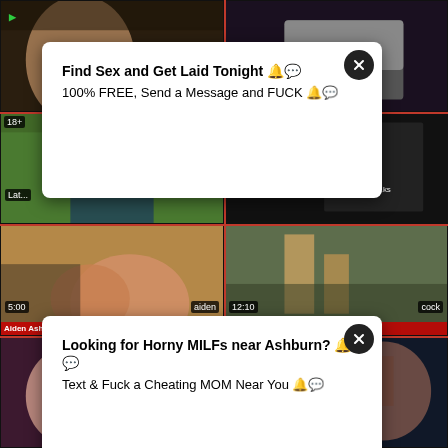[Figure (screenshot): Adult video thumbnail grid with popup advertisements overlay]
Find Sex and Get Laid Tonight
100% FREE, Send a Message and FUCK
Looking for Horny MILFs near Ashburn?
Text & Fuck a Cheating MOM Near You
5:00 | aiden
Aiden Ashley Has Neighbor Come And
12:10 | cock
Deep Cock stakeout redtube cock